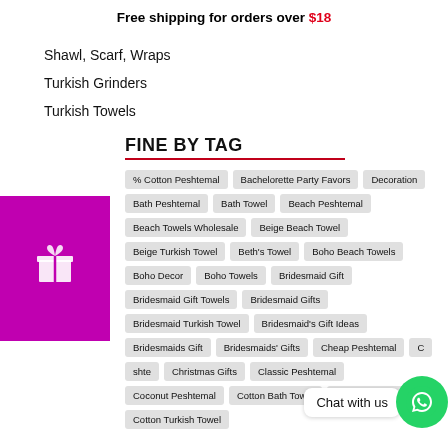Free shipping for orders over $18
Shawl, Scarf, Wraps
Turkish Grinders
Turkish Towels
FINE BY TAG
% Cotton Peshtemal | Bachelorette Party Favors | Decoration | Bath Peshtemal | Bath Towel | Beach Peshtemal | Beach Towels Wholesale | Beige Beach Towel | Beige Turkish Towel | Beth's Towel | Boho Beach Towels | Boho Decor | Boho Towels | Bridesmaid Gift | Bridesmaid Gift Towels | Bridesmaid Gifts | Bridesmaid Turkish Towel | Bridesmaid's Gift Ideas | Bridesmaids Gift | Bridesmaids' Gifts | Cheap Peshtemal | Christmas Gifts | Classic Peshtemal | Coconut Peshtemal | Cotton Bath Towel | Cotton Peshtemal | Cotton Turkish Towel